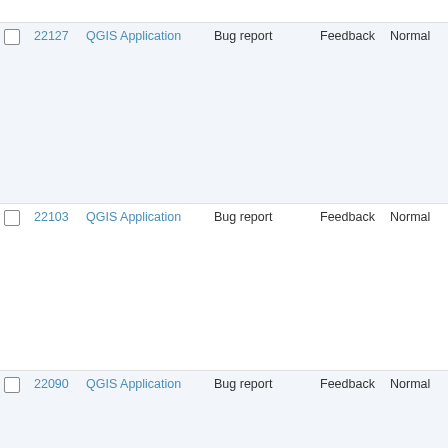|  | # | Project | Tracker | Status | Priority | Subject |
| --- | --- | --- | --- | --- | --- | --- |
|  | Speed |  |  |  |  |  |
| ☐ | 22127 | QGIS Application | Bug report | Feedback | Normal | When clearing field, default is not applied, instead QGIS attepts to insert UI text hint |
| ☐ | 22103 | QGIS Application | Bug report | Feedback | Normal | GRASS module v.to.rast -- combobox to select label only lists numeric fields |
| ☐ | 22090 | QGIS Application | Bug report | Feedback | Normal | Dialog when removing non available layers |
| ☐ | 22085 | QGIS Application | Feature request | Feedback | Normal | Use Z and M values at vertex and/or Attribute Value at feature 3D Rendering |
| ☐ | 22084 | QGIS Application | Bug report | Feedback | Normal | Tool Icons disappear from menu |
| ☐ | 22079 | QGIS Application | Bug report | Feedback | Normal | Weekly snap issue |
| ☐ | 22078 | QGIS Application | Bug report | Feedback | Normal | Export as TIFF from WMS reports success but nothing happens |
| ☐ | 22073 | QGIS Application | Bug report | Feedback | Normal | Data defined does not block |